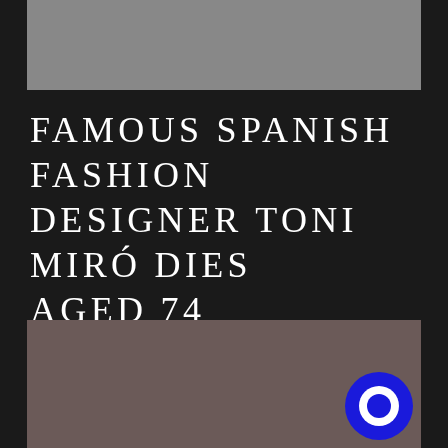[Figure (photo): Gray rectangular image placeholder at top of page]
FAMOUS SPANISH FASHION DESIGNER TONI MIRÓ DIES AGED 74
[Figure (photo): Dark brownish-gray rectangular image placeholder in lower portion of page with a blue chat icon circle in bottom-right corner]